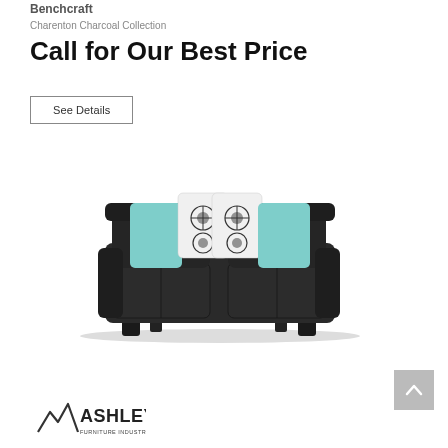Benchcraft
Charenton Charcoal Collection
Call for Our Best Price
See Details
[Figure (photo): Dark charcoal loveseat/sofa with teal and patterned decorative pillows]
[Figure (logo): Ashley Furniture Industries, LLC logo with mountain peaks icon]